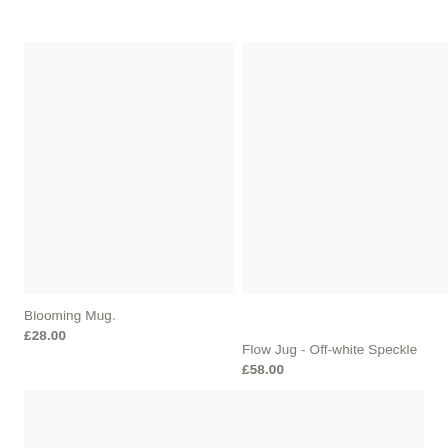[Figure (photo): Product image placeholder box for Blooming Mug, off-white/cream background]
Blooming Mug.
£28.00
[Figure (photo): Product image placeholder box for Flow Jug - Off-white Speckle, off-white/cream background]
Flow Jug - Off-white Speckle
£58.00
[Figure (photo): Bottom band placeholder, off-white/cream background strip]